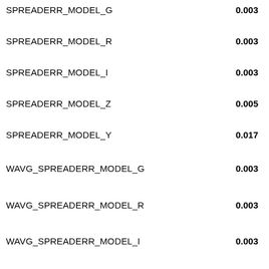SPREADERR_MODEL_G    0.003
SPREADERR_MODEL_R    0.003
SPREADERR_MODEL_I    0.003
SPREADERR_MODEL_Z    0.005
SPREADERR_MODEL_Y    0.017
WAVG_SPREADERR_MODEL_G    0.003
WAVG_SPREADERR_MODEL_R    0.003
WAVG_SPREADERR_MODEL_I    0.003